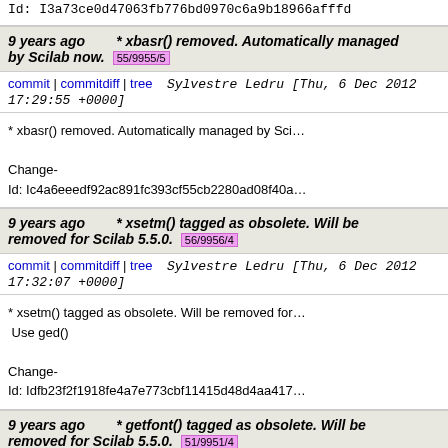Id: I3a73ce0d47063fb776bd0970c6a9b18966afffd
9 years ago * xbasr() removed. Automatically managed by Scilab now. 55/9955/5
commit | commitdiff | tree   Sylvestre Ledru [Thu, 6 Dec 2012 17:29:55 +0000]
* xbasr() removed. Automatically managed by Scilab

Change-
Id: Ic4a6eeedf92ac891fc393cf55cb2280ad08f40a
9 years ago * xsetm() tagged as obsolete. Will be removed for Scilab 5.5.0. 56/9956/4
commit | commitdiff | tree   Sylvestre Ledru [Thu, 6 Dec 2012 17:32:07 +0000]
* xsetm() tagged as obsolete. Will be removed for
 Use ged()

Change-
Id: Idfb23f2f1918fe4a7e773cbf11415d48d4aa417
9 years ago * getfont() tagged as obsolete. Will be removed for Scilab 5.5.0. 51/9951/4